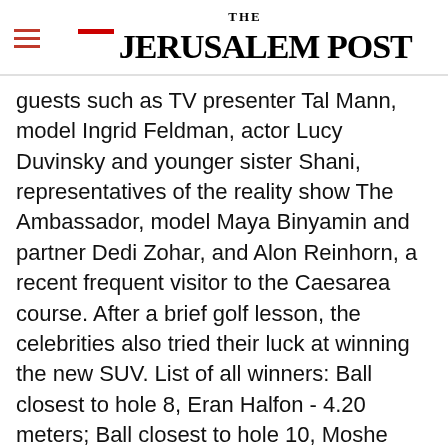THE JERUSALEM POST
guests such as TV presenter Tal Mann, model Ingrid Feldman, actor Lucy Duvinsky and younger sister Shani, representatives of the reality show The Ambassador, model Maya Binyamin and partner Dedi Zohar, and Alon Reinhorn, a recent frequent visitor to the Caesarea course. After a brief golf lesson, the celebrities also tried their luck at winning the new SUV. List of all winners: Ball closest to hole 8, Eran Halfon - 4.20 meters; Ball closest to hole 10, Moshe Zarkower - 2.55m
Advertisement
[Figure (other): Advertisement banner for One-Year MBA in Healthcare from Reichman University and Sheba]